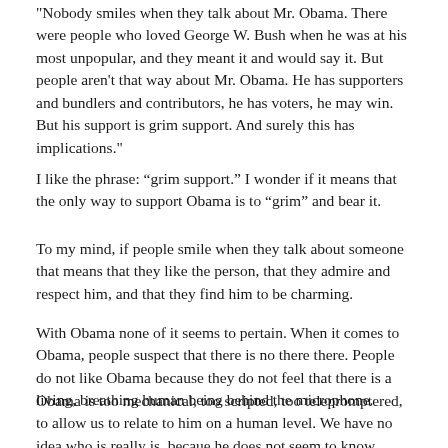"Nobody smiles when they talk about Mr. Obama. There were people who loved George W. Bush when he was at his most unpopular, and they meant it and would say it. But people aren't that way about Mr. Obama. He has supporters and bundlers and contributors, he has voters, he may win. But his support is grim support. And surely this has implications."
I like the phrase: “grim support.” I wonder if it means that the only way to support Obama is to “grim” and bear it.
To my mind, if people smile when they talk about someone that means that they like the person, that they admire and respect him, and that they find him to be charming.
With Obama none of it seems to pertain. When it comes to Obama, people suspect that there is no there there. People do not like Obama because they do not feel that there is a living, breathing human being behind the microphone.
Obama is too mechanical, too scripted, too telepromptered, to allow us to relate to him on a human level. We have no idea who is really is, becaue he does not seem to know himself.